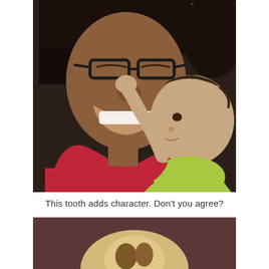[Figure (photo): A smiling woman wearing black glasses and a red top holds a baby in a light green outfit. The baby reaches up and touches the woman's face. They are close together, sharing a joyful moment. Bookshelves are visible in the background.]
This tooth adds character.  Don't you agree?
[Figure (photo): Close-up partial photo showing the top of a baby's or animal's head with light-colored hair/fur, cropped at the bottom of the page.]